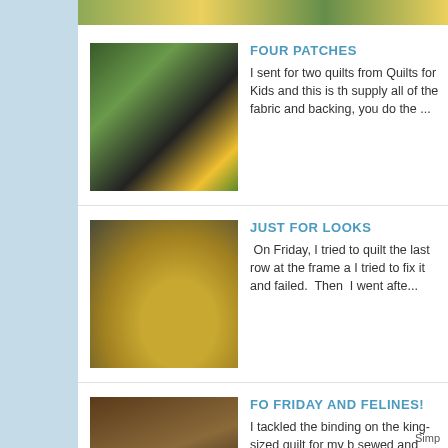[Figure (photo): Top banner with yellow flowers and green foliage]
[Figure (photo): Thumbnail of quilt fabrics and materials for Four Patches post]
FOUR PATCHES
I sent for two quilts from Quilts for Kids and this is th supply all of the fabric and backing, you do the ...
[Figure (photo): Thumbnail of yarn balls in a basket for Just For Looks post]
JUST FOR LOOKS
On Friday, I tried to quilt the last row at the frame a I tried to fix it and failed.  Then  I went afte...
[Figure (photo): Thumbnail of a cat near quilting materials for FO Friday and Felines post]
FO FRIDAY AND FELINES!
I tackled the binding on the king-sized quilt for my b sewed and then walked a bout a bit and then did so
Simp